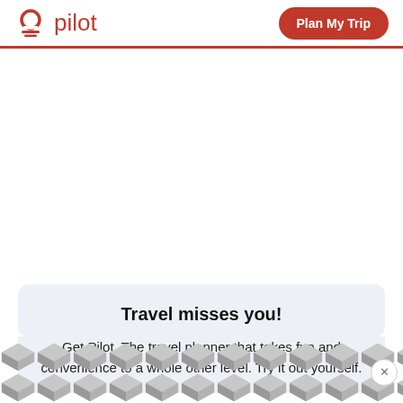pilot | Plan My Trip
Travel misses you!
Get Pilot. The travel planner that takes fun and convenience to a whole other level. Try it out yourself.
[Figure (screenshot): Ad banner with geometric hexagon/cube pattern in grey tones, with ad indicator and close button]